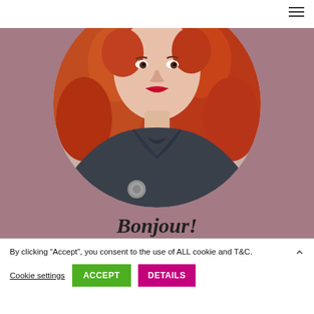[Figure (photo): Screenshot of a website showing a circular portrait photo of a woman with curly red/auburn hair and red lips, wearing a dark blazer with a brooch, set against a dusty rose/mauve background. The word 'Bonjour!' appears at the bottom of the photo section. A hamburger menu icon is visible in the top right corner.]
By clicking “Accept”, you consent to the use of ALL cookie and T&C.
Cookie settings
ACCEPT
DETAILS